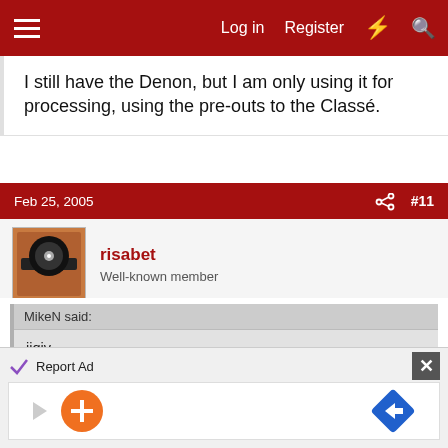Log in  Register
I still have the Denon, but I am only using it for processing, using the pre-outs to the Classé.
Feb 25, 2005  #11
risabet
Well-known member
MikeN said:
jjqiv,

Which tube preamp would you recommend in the 2k range? Does such a thing exist? I am pretty clueless about tubes as you can see. And what kind of difference would I
Report Ad